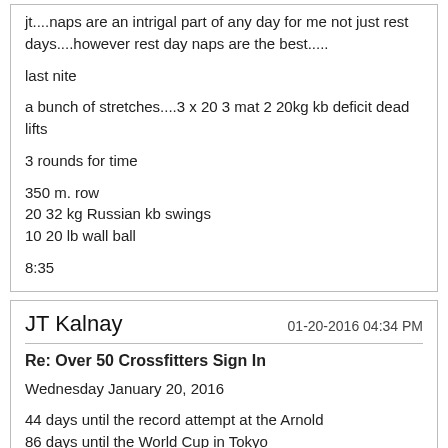jt....naps are an intrigal part of any day for me not just rest days....however rest day naps are the best.....
last nite
a bunch of stretches....3 x 20 3 mat 2 20kg kb deficit dead lifts
3 rounds for time
350 m. row
20 32 kg Russian kb swings
10 20 lb wall ball
8:35
JT Kalnay
01-20-2016 04:34 PM
Re: Over 50 Crossfitters Sign In
Wednesday January 20, 2016
44 days until the record attempt at the Arnold
86 days until the World Cup in Tokyo
Rowed 1k to warm up.
Did 1/2 my mobility and stretching.
Snatch Practice
5x45#
5x95#